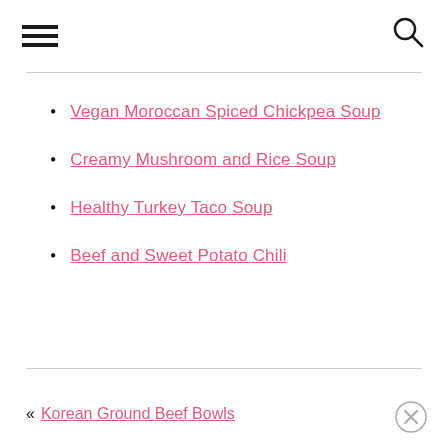Navigation header with hamburger menu and search icon
Vegan Moroccan Spiced Chickpea Soup
Creamy Mushroom and Rice Soup
Healthy Turkey Taco Soup
Beef and Sweet Potato Chili
« Korean Ground Beef Bowls